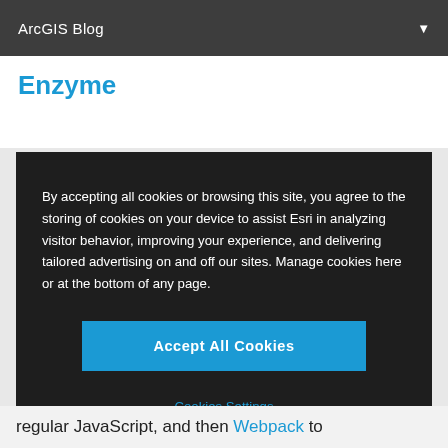ArcGIS Blog
Enzyme
By accepting all cookies or browsing this site, you agree to the storing of cookies on your device to assist Esri in analyzing visitor behavior, improving your experience, and delivering tailored advertising on and off our sites. Manage cookies here or at the bottom of any page.
Accept All Cookies
Cookies Settings
regular JavaScript, and then Webpack to